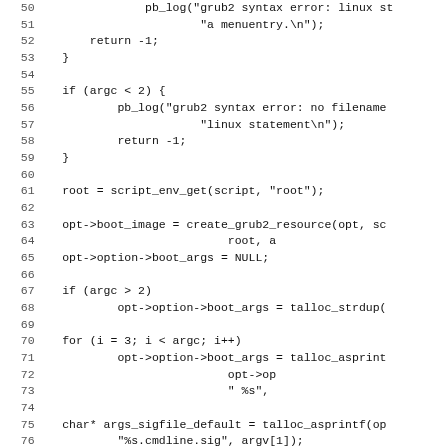[Figure (screenshot): Source code listing in C, lines 50-82, showing grub2 boot configuration code with line numbers on the left and monospaced code on the right. Code includes error handling, script_env_get, create_grub2_resource, talloc_strdup, talloc_asprintf, and related function calls.]